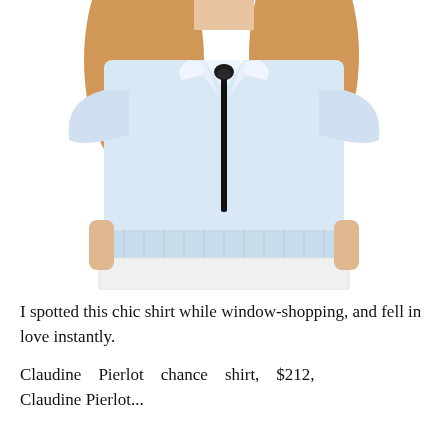[Figure (photo): A model wearing a light blue short-sleeve collared shirt with a black ribbon tie at the collar. The shirt has a pleated hem. The model is cropped from the neck down to the waist, showing a white lace skirt underneath.]
I spotted this chic shirt while window-shopping, and fell in love instantly.
Claudine Pierlot chance shirt, $212, Claudine Pierlot...